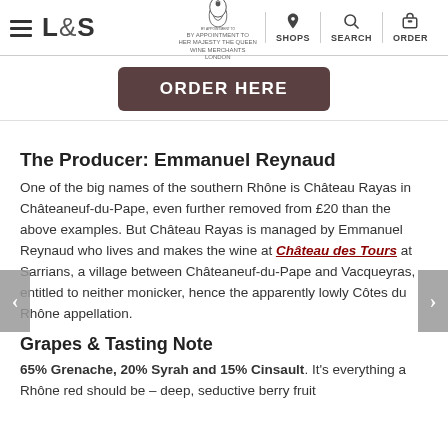L&S | SHOPS | SEARCH | ORDER
[Figure (screenshot): ORDER HERE button in dark brown/maroon rounded rectangle]
The Producer: Emmanuel Reynaud
One of the big names of the southern Rhône is Château Rayas in Châteaneuf-du-Pape, even further removed from £20 than the above examples. But Château Rayas is managed by Emmanuel Reynaud who lives and makes the wine at Château des Tours at Sarrians, a village between Châteaneuf-du-Pape and Vacqueyras, entitled to neither monicker, hence the apparently lowly Côtes du Rhône appellation.
Grapes & Tasting Note
65% Grenache, 20% Syrah and 15% Cinsault. It's everything a Rhône red should be – deep, seductive berry fruit